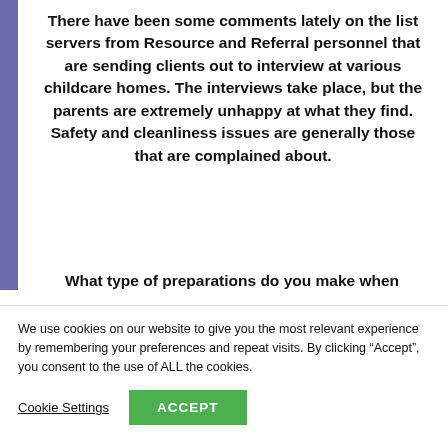There have been some comments lately on the list servers from Resource and Referral personnel that are sending clients out to interview at various childcare homes. The interviews take place, but the parents are extremely unhappy at what they find. Safety and cleanliness issues are generally those that are complained about.
What type of preparations do you make when
We use cookies on our website to give you the most relevant experience by remembering your preferences and repeat visits. By clicking “Accept”, you consent to the use of ALL the cookies.
Cookie Settings
ACCEPT